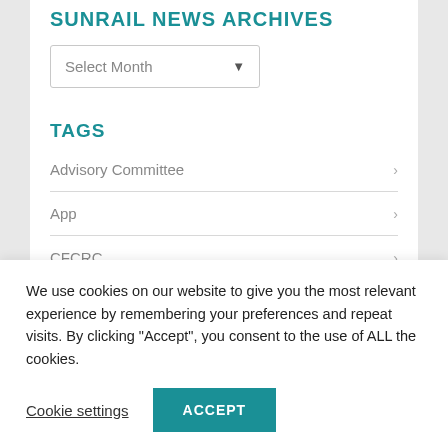SUNRAIL NEWS ARCHIVES
Select Month
TAGS
Advisory Committee
App
CFCRC
Events
We use cookies on our website to give you the most relevant experience by remembering your preferences and repeat visits. By clicking “Accept”, you consent to the use of ALL the cookies.
Cookie settings
ACCEPT